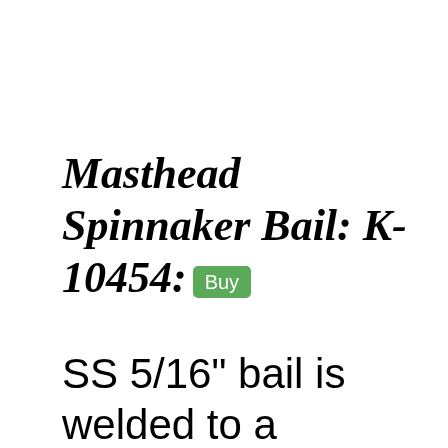Masthead Spinnaker Bail: K-10454: Buy
SS 5/16" bail is welded to a Trapezoidal SS plate which bolts to